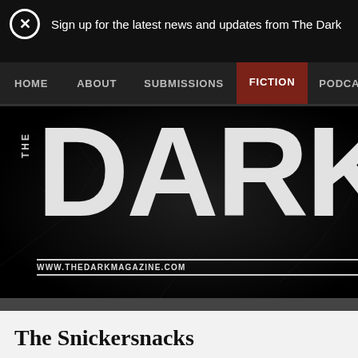Sign up for the latest news and updates from The Dark
HOME  ABOUT  SUBMISSIONS  FICTION  PODCASTS
[Figure (logo): The Dark Magazine logo — large bold white 'DARK' text with 'THE' rotated vertically on the left, and 'WWW.THEDARKMAGAZINE.COM' in a bar below, all on a dark textured background]
The Snickersnacks